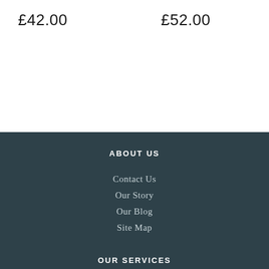£42.00
£52.00
ABOUT US
Contact Us
Our Story
Our Blog
Site Map
OUR SERVICES